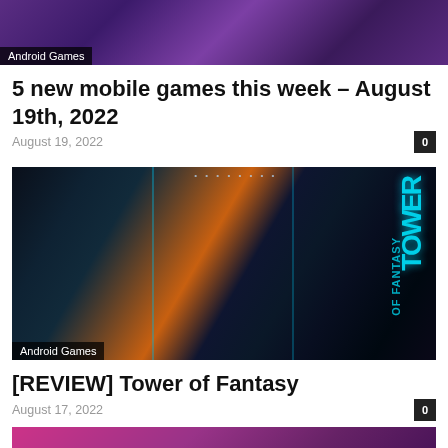[Figure (photo): Android Games header image with game characters on purple/dark background]
Android Games
5 new mobile games this week – August 19th, 2022
August 19, 2022
0
[Figure (photo): Tower of Fantasy game promotional image showing anime-style characters with sci-fi panels and Tower of Fantasy logo on right side, labeled Android Games]
Android Games
[REVIEW] Tower of Fantasy
August 17, 2022
0
[Figure (photo): Bottom partial image showing colorful game art with pink/purple tones]